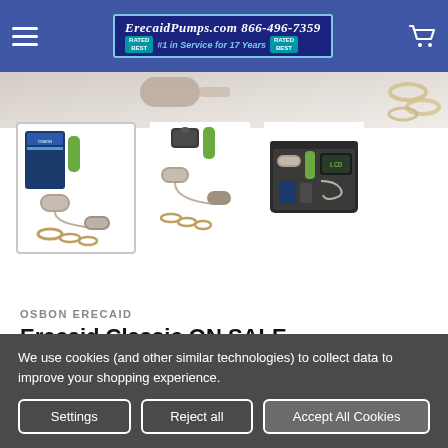ErecaidPumps.com 866-496-7359 — #1 in Service for 17 Years
[Figure (photo): Product images of the Erecaid Classic vacuum erection device, shown in three views: boxed kit with accessories, kit spread out, and carrying case open with components.]
OSBON ERECAID
Erecaid Classic ON SALE
★★★★★ (2 reviews) Write a Review
We use cookies (and other similar technologies) to collect data to improve your shopping experience.